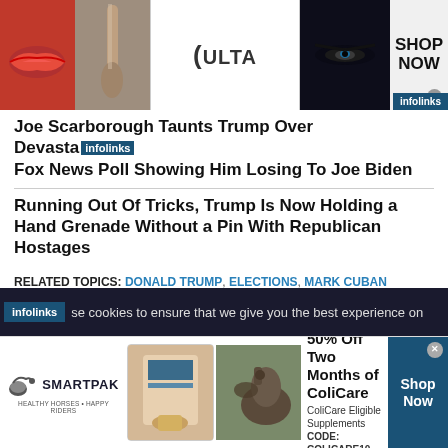[Figure (photo): Top advertisement banner for Ulta Beauty showing makeup imagery, Ulta logo, and Shop Now button with infolinks badge]
Joe Scarborough Taunts Trump Over Devastating Fox News Poll Showing Him Losing To Joe Biden
Running Out Of Tricks, Trump Is Now Holding a Hand Grenade Without a Pin With Republican Hostages
RELATED TOPICS: DONALD TRUMP, ELECTIONS, MARK CUBAN
More in NEWS
[Figure (screenshot): Dark bottom section with infolinks badge and cookie consent text: se cookies to ensure that we give you the best experience on]
[Figure (photo): SmartPak advertisement: 50% Off Two Months of ColiCare, ColiCare Eligible Supplements, CODE: COLICARE10, with Shop Now button]